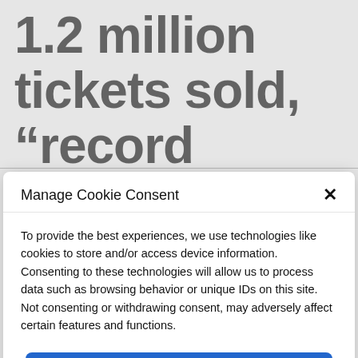1.2 million tickets sold, “record demand” and rising housing
Manage Cookie Consent
To provide the best experiences, we use technologies like cookies to store and/or access device information. Consenting to these technologies will allow us to process data such as browsing behavior or unique IDs on this site. Not consenting or withdrawing consent, may adversely affect certain features and functions.
Accept